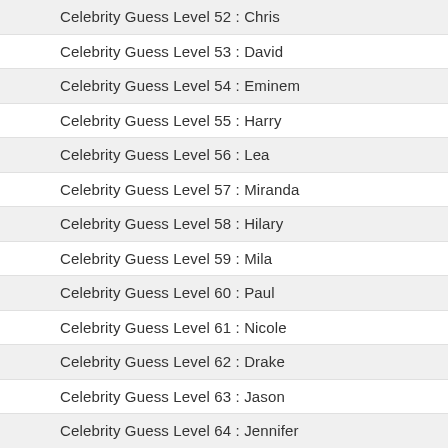Celebrity Guess Level 52 : Chris
Celebrity Guess Level 53 : David
Celebrity Guess Level 54 : Eminem
Celebrity Guess Level 55 : Harry
Celebrity Guess Level 56 : Lea
Celebrity Guess Level 57 : Miranda
Celebrity Guess Level 58 : Hilary
Celebrity Guess Level 59 : Mila
Celebrity Guess Level 60 : Paul
Celebrity Guess Level 61 : Nicole
Celebrity Guess Level 62 : Drake
Celebrity Guess Level 63 : Jason
Celebrity Guess Level 64 : Jennifer
Celebrity Guess Level 65 : Jeremy
Celebrity Guess Level 66 : Julianne
Celebrity Guess Level 67 : Jude
Celebrity Guess Level 68 : Philip